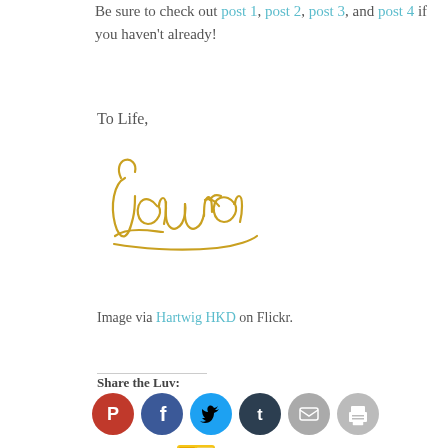Be sure to check out post 1, post 2, post 3, and post 4 if you haven't already!
To Life,
[Figure (illustration): Cursive handwritten signature 'Laura' in golden/yellow script]
Image via Hartwig HKD on Flickr.
Share the Luv:
[Figure (other): Social sharing icons: Pinterest (red), Facebook (blue), Twitter (cyan), Tumblr (dark navy), Email (gray), Print (gray)]
[Figure (other): Like button with blue star and a yellow avatar grid tile]